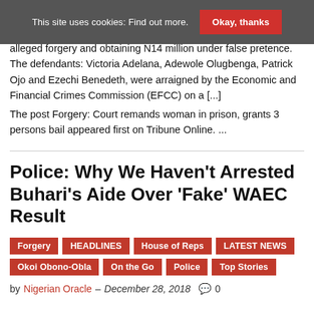This site uses cookies: Find out more. Okay, thanks
alleged forgery and obtaining N14 million under false pretence. The defendants: Victoria Adelana, Adewole Olugbenga, Patrick Ojo and Ezechi Benedeth, were arraigned by the Economic and Financial Crimes Commission (EFCC) on a [...]
The post Forgery: Court remands woman in prison, grants 3 persons bail appeared first on Tribune Online. ...
Police: Why We Haven't Arrested Buhari's Aide Over 'Fake' WAEC Result
Forgery
HEADLINES
House of Reps
LATEST NEWS
Okoi Obono-Obla
On the Go
Police
Top Stories
by Nigerian Oracle – December 28, 2018  0